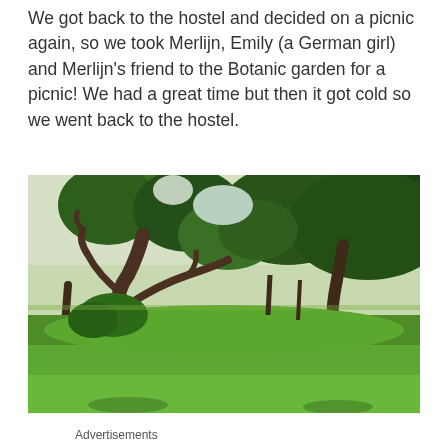We got back to the hostel and decided on a picnic again, so we took Merlijn, Emily (a German girl) and Merlijn's friend to the Botanic garden for a picnic! We had a great time but then it got cold so we went back to the hostel.
[Figure (photo): Photograph of a lush green park or botanic garden with large trees with twisted branches, manicured lawn in the foreground, and dense tree canopy in the background.]
Advertisements
[Figure (photo): Partial view of an advertisement image (cropped) showing a light pink/beige background with a partial figure.]
[Figure (logo): Day One app logo: a teal/cyan square bookmark icon above the text 'DAY ONE' in spaced capital letters.]